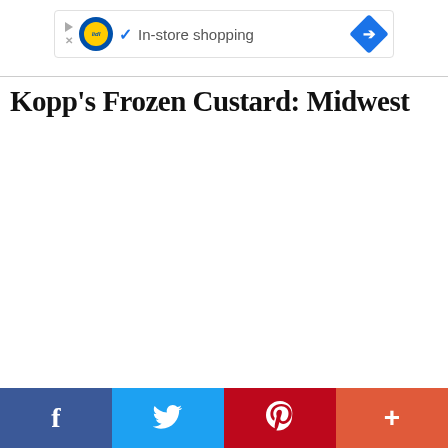[Figure (screenshot): Advertisement banner for Lidl grocery store showing play button, Lidl logo, blue checkmark, 'In-store shopping' text, and a blue diamond-shaped directions icon]
Kopp's Frozen Custard: Midwest
[Figure (infographic): Social media share bar with four buttons: Facebook (dark blue), Twitter (light blue), Pinterest (red), and More/Plus (coral/orange-red)]